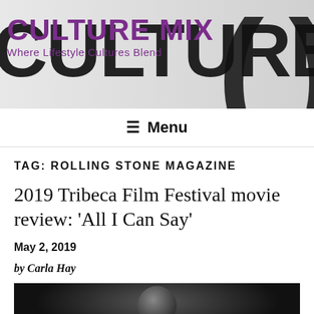[Figure (logo): Culture Mix website header banner with large black 'CULTURE mix' background text and purple 'CULTURE MIX' logo overlay with tagline 'Where Lifestyle Cultures Blend', and large parenthesis/bracket decorative elements]
≡ Menu
TAG: ROLLING STONE MAGAZINE
2019 Tribeca Film Festival movie review: 'All I Can Say'
May 2, 2019
by Carla Hay
[Figure (photo): Dark photograph showing a person, appears to be at a film festival or indoor venue]